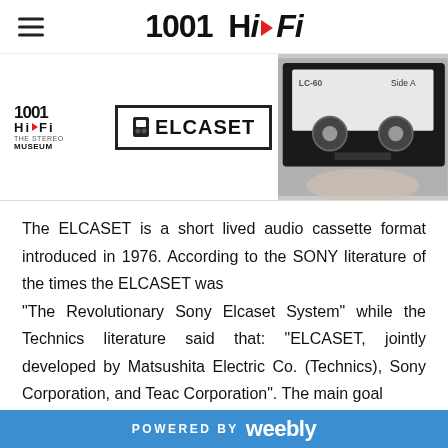1001 HI-FI
[Figure (photo): Banner image showing 1001 Hi-Fi The Stereo Museum logo, Elcaset logo in a box, and a black-and-white photo of a hand holding an Elcaset cassette tape (LC-60, side A).]
The ELCASET is a short lived audio cassette format introduced in 1976. According to the SONY literature of the times the ELCASET was "The Revolutionary Sony Elcaset System" while the Technics literature said that: "ELCASET, jointly developed by Matsushita Electric Co. (Technics), Sony Corporation, and Teac Corporation". The main goal
POWERED BY weebly